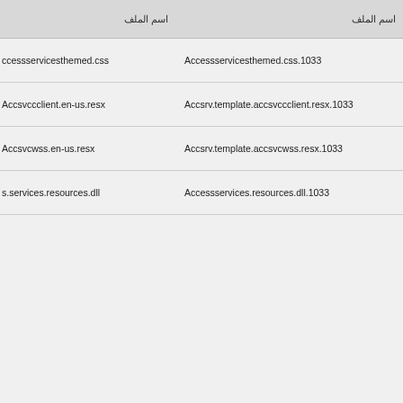| اسم الملف | اسم الملف |
| --- | --- |
| ccessservicesthemed.css | Accessservicesthemed.css.1033 |
| Accsvccclient.en-us.resx | Accsrv.template.accsvccclient.resx.1033 |
| Accsvcwss.en-us.resx | Accsrv.template.accsvcwss.resx.1033 |
| s.services.resources.dll | Accessservices.resources.dll.1033 |